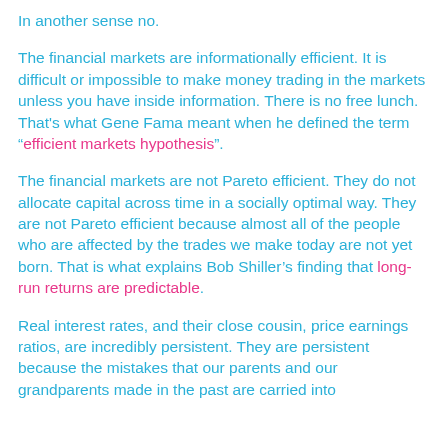In another sense no.
The financial markets are informationally efficient. It is difficult or impossible to make money trading in the markets unless you have inside information. There is no free lunch. That's what Gene Fama meant when he defined the term “efficient markets hypothesis”.
The financial markets are not Pareto efficient. They do not allocate capital across time in a socially optimal way. They are not Pareto efficient because almost all of the people who are affected by the trades we make today are not yet born. That is what explains Bob Shiller’s finding that long-run returns are predictable.
Real interest rates, and their close cousin, price earnings ratios, are incredibly persistent. They are persistent because the mistakes that our parents and our grandparents made in the past are carried into